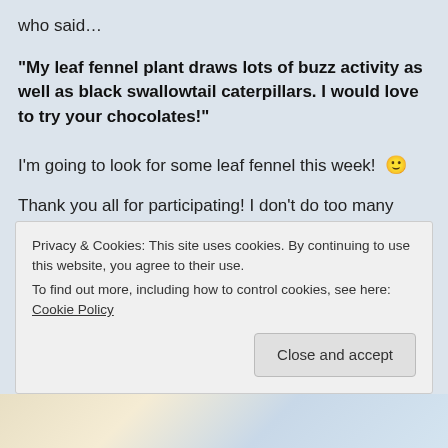who said…
“My leaf fennel plant draws lots of buzz activity as well as black swallowtail caterpillars. I would love to try your chocolates!”
I’m going to look for some leaf fennel this week! 😐
Thank you all for participating! I don’t do too many giveaways, but they are fun!
Just to insure transparency, here are some photos of our process as we conducted the drawing.
Privacy & Cookies: This site uses cookies. By continuing to use this website, you agree to their use.
To find out more, including how to control cookies, see here: Cookie Policy
[Figure (photo): Bottom strip showing partial image, appears to be paper/document photos]